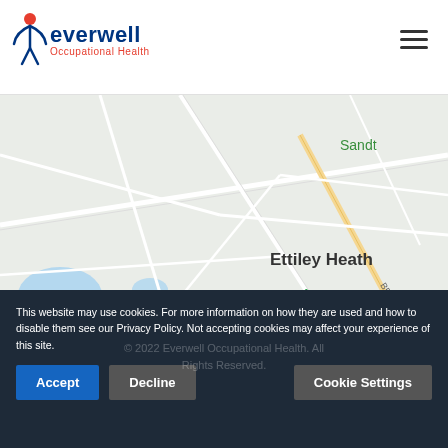[Figure (logo): Everwell Occupational Health logo with stick figure icon in blue and red, company name in dark blue, subtitle in red]
[Figure (map): Google Maps screenshot showing Ettiley Heath area with road network, blue water features, satellite thumbnail inset, and Google branding. Map data ©2022. Keyboard shortcuts and Terms of Use links visible.]
This website may use cookies. For more information on how they are used and how to disable them see our Privacy Policy. Not accepting cookies may affect your experience of this site.
Accept
Decline
Cookie Settings
© 2022 Everwell Occupational Health. All Rights Reserved.